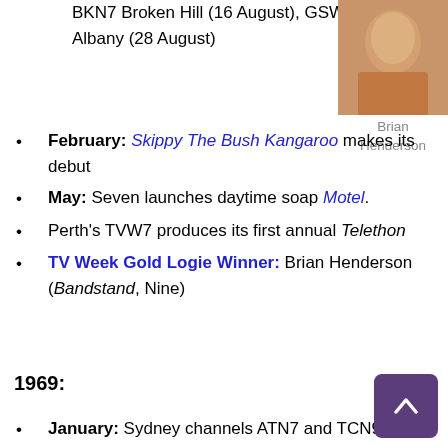BKN7 Broken Hill (16 August), GSW9 Albany (28 August)
[Figure (photo): Photo of Brian Henderson]
Brian Henderson
February: Skippy The Bush Kangaroo makes its debut
May: Seven launches daytime soap Motel.
Perth's TVW7 produces its first annual Telethon
TV Week Gold Logie Winner: Brian Henderson (Bandstand, Nine)
1969:
January: Sydney channels ATN7 and TCN9 launch competing breakfast news shows, Sydney Today and Today respectively.
February: The Government announces that Australia will adopt the European PAL colour TV standard,